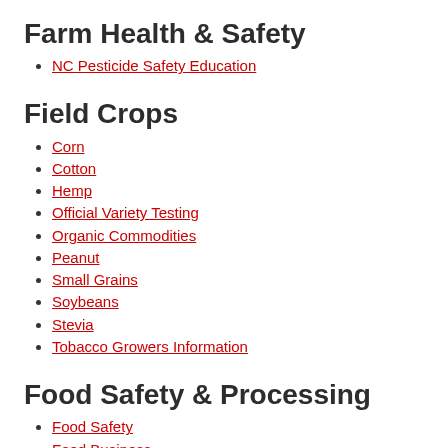Farm Health & Safety
NC Pesticide Safety Education
Field Crops
Corn
Cotton
Hemp
Official Variety Testing
Organic Commodities
Peanut
Small Grains
Soybeans
Stevia
Tobacco Growers Information
Food Safety & Processing
Food Safety
Food Business